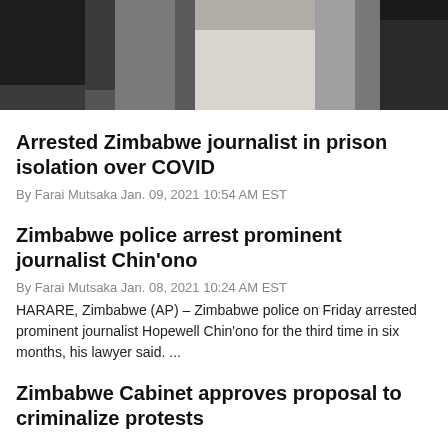[Figure (photo): Photograph showing people standing, partially cropped — dark clothing on left, white shirt in center, dark background on right]
Arrested Zimbabwe journalist in prison isolation over COVID
By Farai Mutsaka Jan. 09, 2021 10:54 AM EST
Zimbabwe police arrest prominent journalist Chin'ono
By Farai Mutsaka Jan. 08, 2021 10:24 AM EST
HARARE, Zimbabwe (AP) – Zimbabwe police on Friday arrested prominent journalist Hopewell Chin'ono for the third time in six months, his lawyer said. ...
Zimbabwe Cabinet approves proposal to criminalize protests